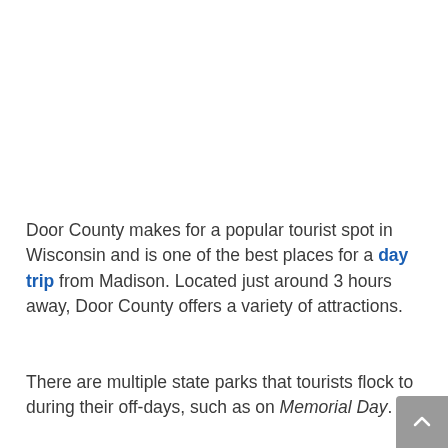Door County makes for a popular tourist spot in Wisconsin and is one of the best places for a day trip from Madison. Located just around 3 hours away, Door County offers a variety of attractions.
There are multiple state parks that tourists flock to during their off-days, such as on Memorial Day.